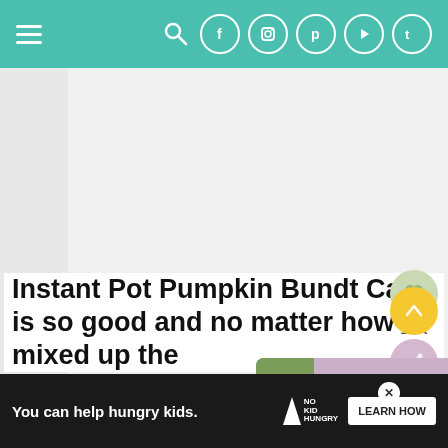Navigation bar with hamburger menu and social icons (search, Facebook, Instagram, Pinterest, YouTube, Twitter)
[Figure (screenshot): Large image placeholder area (light gray), representing the hero image of the Instant Pot Pumpkin Bundt Cake recipe article]
[Figure (other): Heart/save button (green circle) with share count 1.3K and share button (pink circle) on the right side]
[Figure (other): Related recipe popup card showing 'Instant Pot Broccoli...' with a food thumbnail image in pink/purple background]
[Figure (other): Yellow circular scroll-to-top button with upward arrow icon]
Instant Pot Pumpkin Bundt Cake is so good and no matter how I mixed up the i... it in, i...
[Figure (other): Advertisement banner: 'You can help hungry kids.' with No Kid Hungry logo and 'LEARN HOW' button on dark background]